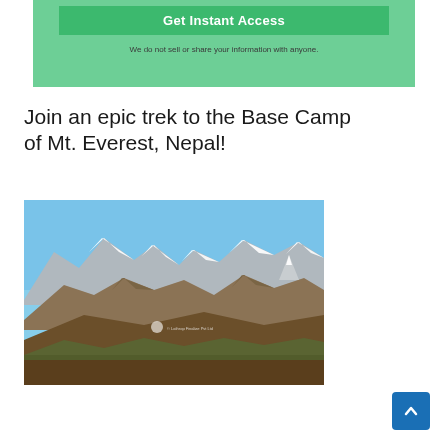[Figure (other): Green banner with a 'Get Instant Access' button and privacy disclaimer text]
Join an epic trek to the Base Camp of Mt. Everest, Nepal!
[Figure (photo): Photograph of snow-capped Himalayan mountains including Mt. Everest area, with brown hillside in foreground and blue sky]